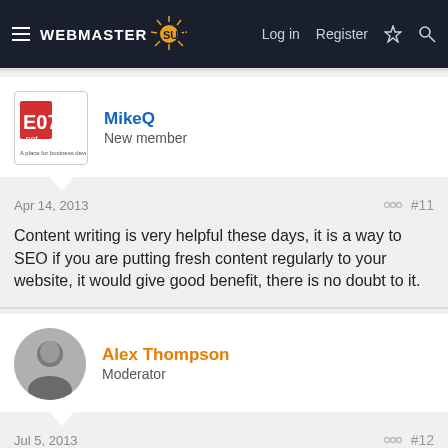WEBMASTER SUN — Log in | Register
MikeQ
New member
Apr 14, 2013  #11
Content writing is very helpful these days, it is a way to SEO if you are putting fresh content regularly to your website, it would give good benefit, there is no doubt to it.
Alex Thompson
Moderator
Jul 5, 2013  #12
Hi..Writing unique content every time is good strategy for website instead of using duplicate or pre-used content. Search engines are strictly against such kind of unethical tricks. Thank